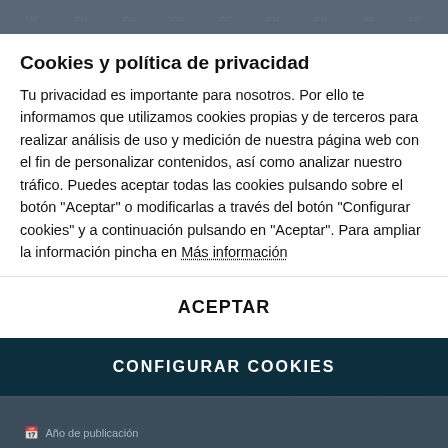Cookies y política de privacidad
Tu privacidad es importante para nosotros. Por ello te informamos que utilizamos cookies propias y de terceros para realizar análisis de uso y medición de nuestra página web con el fin de personalizar contenidos, así como analizar nuestro tráfico. Puedes aceptar todas las cookies pulsando sobre el botón "Aceptar" o modificarlas a través del botón "Configurar cookies" y a continuación pulsando en "Aceptar". Para ampliar la información pincha en Más información
ACEPTAR
CONFIGURAR COOKIES